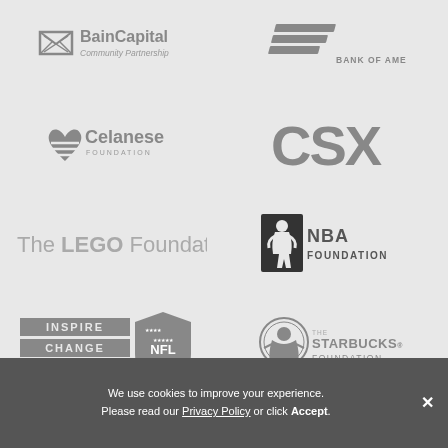[Figure (logo): Bain Capital Community Partnership logo - gray]
[Figure (logo): Bank of America logo - gray]
[Figure (logo): Celanese Foundation logo with heart icon - gray]
[Figure (logo): CSX logo in bold block letters - gray]
[Figure (logo): The LEGO Foundation logo - gray text]
[Figure (logo): NBA Foundation logo with basketball player silhouette - dark]
[Figure (logo): NFL Inspire Change logo - gray]
[Figure (logo): The Starbucks Foundation logo - gray]
We use cookies to improve your experience. Please read our Privacy Policy or click Accept.